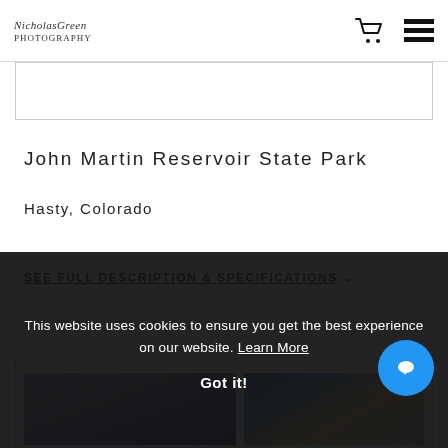NicholasGreen Photography — cart and menu icons
John Martin Reservoir State Park
Hasty, Colorado
SEE FULL DESCRIPTION & SPECIFICATIONS ∨
RELATED PRODUCTS
[Figure (photo): Landscape photo 1 – twilight sky with colorful clouds]
[Figure (photo): Landscape photo 2 – blue sky with light rays and clouds]
This website uses cookies to ensure you get the best experience on our website. Learn More
Got it!